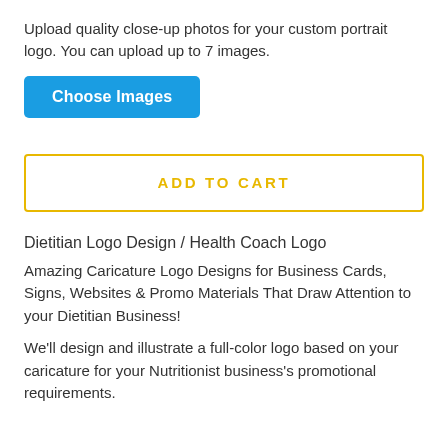Upload quality close-up photos for your custom portrait logo. You can upload up to 7 images.
Choose Images
ADD TO CART
Dietitian Logo Design / Health Coach Logo
Amazing Caricature Logo Designs for Business Cards, Signs, Websites & Promo Materials That Draw Attention to your Dietitian Business!
We'll design and illustrate a full-color logo based on your caricature for your Nutritionist business's promotional requirements.